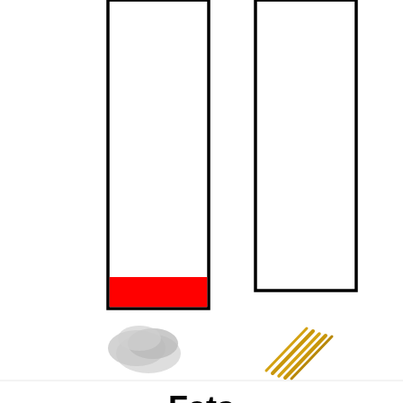[Figure (bar-chart): Two bar charts side by side showing fats content. Left bar is mostly full with a red fill near bottom indicating 4%. Right bar is empty/white indicating 3%. Below each bar are food images (nuts/seeds) and percentage labels.]